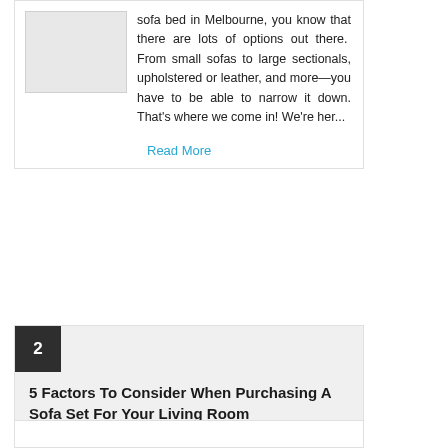sofa bed in Melbourne, you know that there are lots of options out there. From small sofas to large sectionals, upholstered or leather, and more—you have to be able to narrow it down. That's where we come in! We're her...
Read More
2
5 Factors To Consider When Purchasing A Sofa Set For Your Living Room